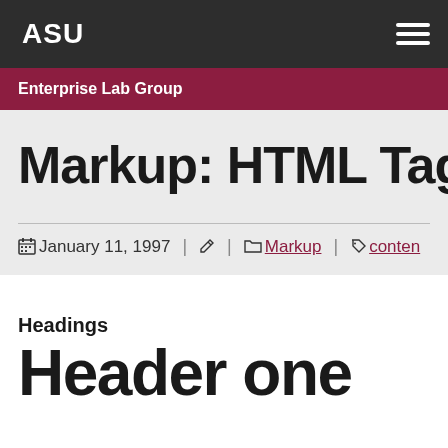ASU | Enterprise Lab Group
Markup: HTML Tags
January 11, 1997 | Markup | content
Headings
Header one